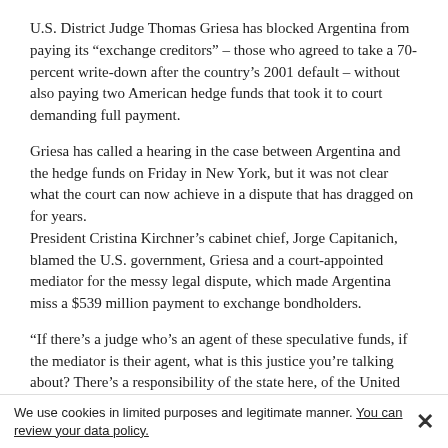U.S. District Judge Thomas Griesa has blocked Argentina from paying its “exchange creditors” – those who agreed to take a 70-percent write-down after the country’s 2001 default – without also paying two American hedge funds that took it to court demanding full payment.
Griesa has called a hearing in the case between Argentina and the hedge funds on Friday in New York, but it was not clear what the court can now achieve in a dispute that has dragged on for years. President Cristina Kirchner’s cabinet chief, Jorge Capitanich, blamed the U.S. government, Griesa and a court-appointed mediator for the messy legal dispute, which made Argentina miss a $539 million payment to exchange bondholders.
“If there’s a judge who’s an agent of these speculative funds, if the mediator is their agent, what is this justice you’re talking about? There’s a responsibility of the state here, of the United States, to create the conditions for the unconditional respect of other countries’ sovereignty,” he said.
He accused Griesa and mediator Dan Pollack of “incompetence” and said
We use cookies in limited purposes and legitimate manner. You can review your data policy.